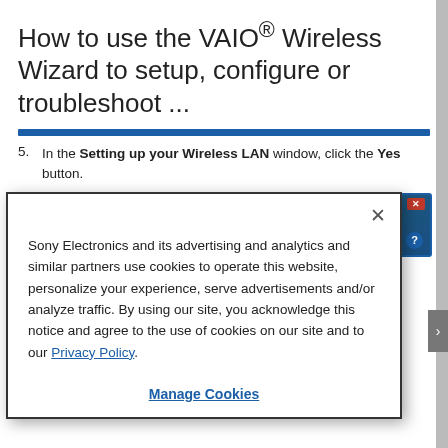How to use the VAIO® Wireless Wizard to setup, configure or troubleshoot ...
[Figure (screenshot): Screenshot of 'Setting up your Wireless LAN' dialog window with teal/blue gradient background, close button, help button, and window title text.]
5. In the Setting up your Wireless LAN window, click the Yes button.
Sony Electronics and its advertising and analytics and similar partners use cookies to operate this website, personalize your experience, serve advertisements and/or analyze traffic. By using our site, you acknowledge this notice and agree to the use of cookies on our site and to our Privacy Policy.
Manage Cookies